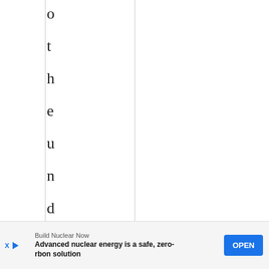o t h e u n d e r s t a
Build Nuclear Now
Advanced nuclear energy is a safe, zero-carbon solution
OPEN